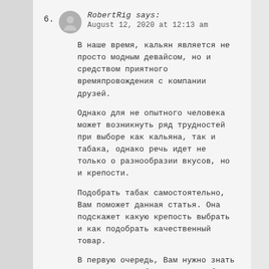6. RobertRig says:
August 12, 2020 at 12:13 am
В наше время, кальян является не просто модным девайсом, но и средством приятного времяпровождения с компании друзей.
Однако для не опытного человека может возникнуть ряд трудностей при выборе как кальяна, так и табака, однако речь идет не только о разнообразии вкусов, но и крепости.
Подобрать табак самостоятельно, Вам поможет данная статья. Она подскажет какую крепость выбрать и как подобрать качественный товар.
В первую очередь, Вам нужно знать то, что все табачные смеси об...